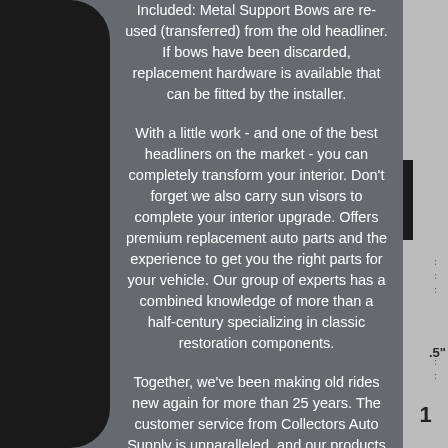Included: Metal Support Bows are re-used (transferred) from the old headliner. If bows have been discarded, replacement hardware is available that can be fitted by the installer.
With a little work - and one of the best headliners on the market - you can completely transform your interior. Don't forget we also carry sun visors to complete your interior upgrade. Offers premium replacement auto parts and the experience to get you the right parts for your vehicle. Our group of experts has a combined knowledge of more than a half-century specializing in classic restoration components.
Together, we've been making old rides new again for more than 25 years. The customer service from Collectors Auto Supply is unparalleled, and our products are top-notch. If you've been searching for a hard-to-find replacement component, look no further.
We have countless suppliers throughout the country, which means, if the part you need is out there, we'll find it. The item "Headliner for 1974-1981 Pontiac, Chevrolet Firebird, Camaro 2-Door Coupe White" is in sale since Sunday, June 2, 2019.